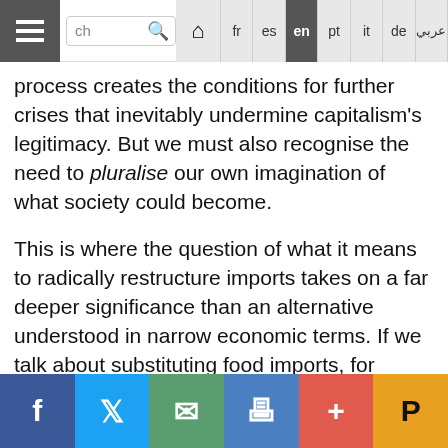Navigation bar with hamburger menu, search box, home icon, and language tabs: fr, es, en (active), pt, it, de, عربي
process creates the conditions for further crises that inevitably undermine capitalism's legitimacy. But we must also recognise the need to pluralise our own imagination of what society could become.
This is where the question of what it means to radically restructure imports takes on a far deeper significance than an alternative understood in narrow economic terms. If we talk about substituting food imports, for example, how would it shape people's habits and diets, including the potential impact of a public distribution system? If we talk about reducing oil imports, a proxy for energy consumption, how would this require changes in the design of the built environment and public transportation? If we talk about reducing pharmaceutical imports, how would this generate new questions about ways in which to
Social sharing bar: Facebook, Twitter, Email, Print, Plus, Pocket